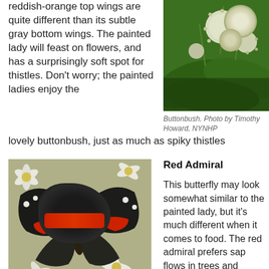reddish-orange top wings are quite different than its subtle gray bottom wings. The painted lady will feast on flowers, and has a surprisingly soft spot for thistles. Don't worry; the painted ladies enjoy the lovely buttonbush, just as much as spiky thistles
[Figure (photo): Photo of buttonbush plant with round white spiky flower heads and large green leaves]
Buttonbush. Photo by Timothy Howard, NYNHP
[Figure (photo): Photo of a Red Admiral butterfly with black wings featuring red-orange bands and white spots, resting on white flowers]
Red Admiral
This butterfly may look somewhat similar to the painted lady, but it's much different when it comes to food. The red admiral prefers sap flows in trees and rotting fruit, but if it